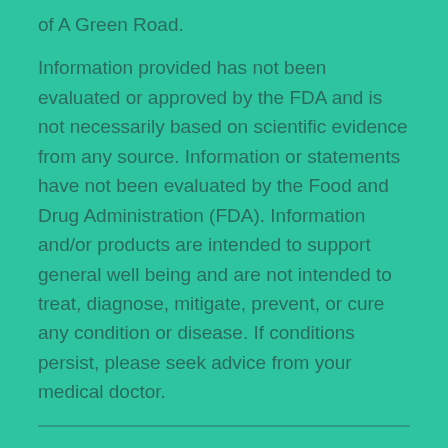of A Green Road.
Information provided has not been evaluated or approved by the FDA and is not necessarily based on scientific evidence from any source. Information or statements have not been evaluated by the Food and Drug Administration (FDA). Information and/or products are intended to support general well being and are not intended to treat, diagnose, mitigate, prevent, or cure any condition or disease. If conditions persist, please seek advice from your medical doctor.
Any copyrighted material (including, but not limited to, written words, articles, graphics, videos, etc) on A Green Road is used in accordance with ‘Fair Use’ practices and in accordance with the Fair Use Section 107 of the